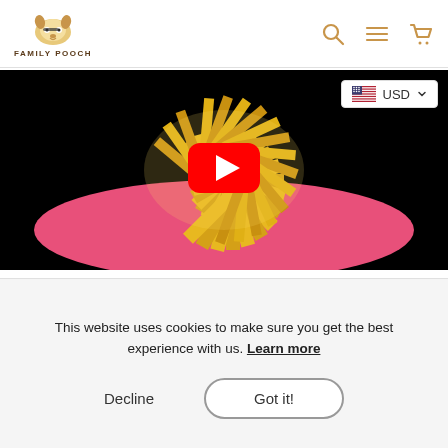FAMILY POOCH
[Figure (screenshot): YouTube video player showing a snuffle mat made of yellow fabric strips in a pink bowl, with a red YouTube play button overlay. A USD currency selector dropdown is visible in the top right.]
[Figure (screenshot): Partial view of a second video strip at the bottom of the media area.]
This website uses cookies to make sure you get the best experience with us. Learn more
Decline
Got it!